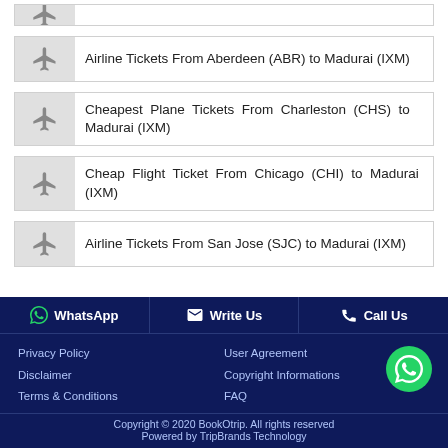(partial top item)
Airline Tickets From Aberdeen (ABR) to Madurai (IXM)
Cheapest Plane Tickets From Charleston (CHS) to Madurai (IXM)
Cheap Flight Ticket From Chicago (CHI) to Madurai (IXM)
Airline Tickets From San Jose (SJC) to Madurai (IXM)
WhatsApp   Write Us   Call Us
Privacy Policy   User Agreement
Disclaimer   Copyright Informations
Terms & Conditions   FAQ
Copyright © 2020 BookOtrip. All rights reserved
Powered by TripBrands Technology